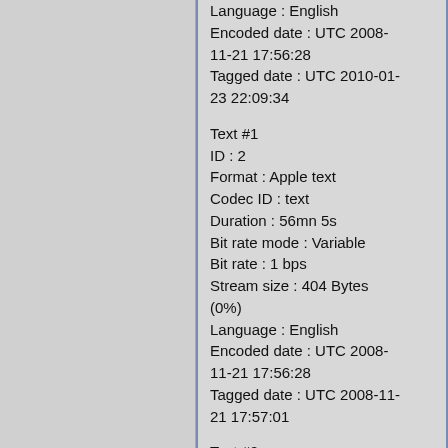Language : English
Encoded date : UTC 2008-11-21 17:56:28
Tagged date : UTC 2010-01-23 22:09:34
Text #1
ID : 2
Format : Apple text
Codec ID : text
Duration : 56mn 5s
Bit rate mode : Variable
Bit rate : 1 bps
Stream size : 404 Bytes (0%)
Language : English
Encoded date : UTC 2008-11-21 17:56:28
Tagged date : UTC 2008-11-21 17:57:01
Text #2
ID : 4
Format : Timed text
Codec ID : tx3g
Duration : 56mn 5s
Bit rate mode : Variable
Bit rate : 1 bps
Stream size : 591 Bytes (0%)
Language : Engli...